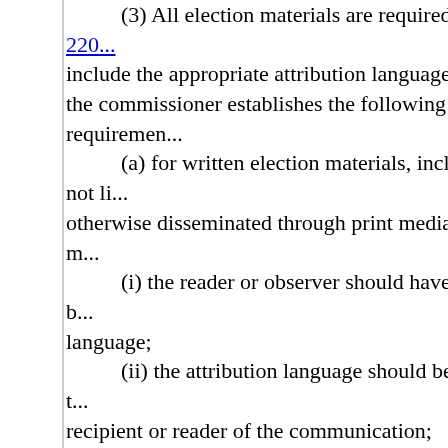(3) All election materials are required by 10-03-220... include the appropriate attribution language. To ensure the commissioner establishes the following requirements: (a) for written election materials, including but not li... otherwise disseminated through print media or digital m... (i) the reader or observer should have no difficulty b... language; (ii) the attribution language should be of sufficient t... recipient or reader of the communication; (iii) the language should be contained in a printed a... contents of the election materials; (iv) the language should be printed with a reasonab... background and the printed statement; and (v) in the case of yard signs or other campaign sign... on the side of the sign that contains the campaign mes... (b) for broadcast election materials, including but n... otherwise disseminated through broadcast media or di... (i) the attribution language for broadcast election c... shall be spoken in the communication; (ii) the attribution language for broadcast election m... displayed in the communication. The language may si... required. (4) In partisan candidate elections, election commu... communications financed by a candidate or a political... behalf must state either the candidate's party affiliatio... (a) To meet the party affiliation disclosure requirem...